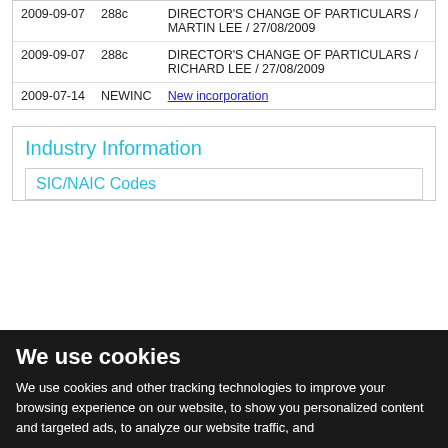| Date | Code | Description |
| --- | --- | --- |
| 2009-09-07 | 288c | DIRECTOR'S CHANGE OF PARTICULARS / MARTIN LEE / 27/08/2009 |
| 2009-09-07 | 288c | DIRECTOR'S CHANGE OF PARTICULARS / RICHARD LEE / 27/08/2009 |
| 2009-07-14 | NEWINC | New incorporation |
Industry Information
SIC/NAIC Codes
We use cookies
We use cookies and other tracking technologies to improve your browsing experience on our website, to show you personalized content and targeted ads, to analyze our website traffic, and